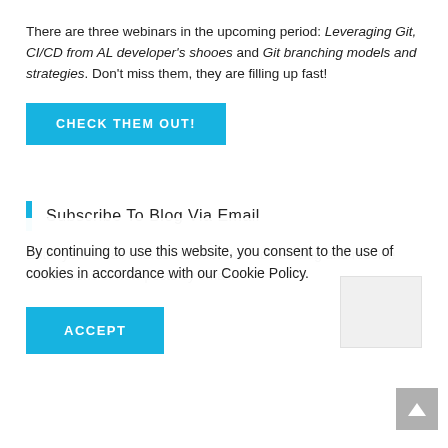There are three webinars in the upcoming period: Leveraging Git, CI/CD from AL developer's shooes and Git branching models and strategies. Don't miss them, they are filling up fast!
[Figure (other): Blue button labeled CHECK THEM OUT!]
Subscribe To Blog Via Email
Enter your email address to subscribe to this blog and receive notifications of new posts by email.
By continuing to use this website, you consent to the use of cookies in accordance with our Cookie Policy.
[Figure (other): Blue ACCEPT button in cookie consent overlay]